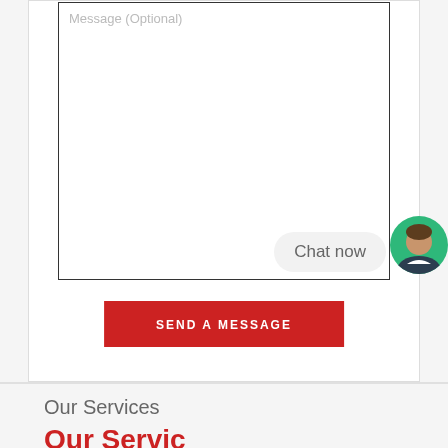[Figure (screenshot): A web form with a message textarea labeled 'Message (Optional)', a red 'SEND A MESSAGE' button, and a chat widget with a close button, 'Chat now' bubble, and avatar icon.]
Our Services
Our Services